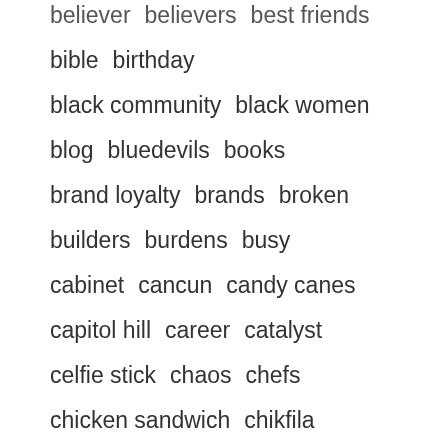believer  believers  best friends
bible  birthday
black community  black women
blog  bluedevils  books
brand loyalty  brands  broken
builders  burdens  busy
cabinet  cancun  candy canes
capitol hill  career  catalyst
celfie stick  chaos  chefs
chicken sandwich  chikfila
chipotle  chrisette michele
christ  christian  christianity
christianity christians
christmas  church  clothes
clubs  co workers  coach k